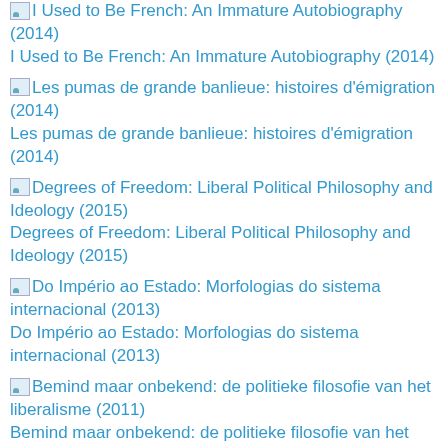I Used to Be French: An Immature Autobiography (2014)
I Used to Be French: An Immature Autobiography (2014)
Les pumas de grande banlieue: histoires d'émigration (2014)
Les pumas de grande banlieue: histoires d'émigration (2014)
Degrees of Freedom: Liberal Political Philosophy and Ideology (2015)
Degrees of Freedom: Liberal Political Philosophy and Ideology (2015)
Do Império ao Estado: Morfologias do sistema internacional (2013)
Do Império ao Estado: Morfologias do sistema internacional (2013)
Bemind maar onbekend: de politieke filosofie van het liberalisme (2011)
Bemind maar onbekend: de politieke filosofie van het liberalisme (2011)
Classical Liberalism and International Relations